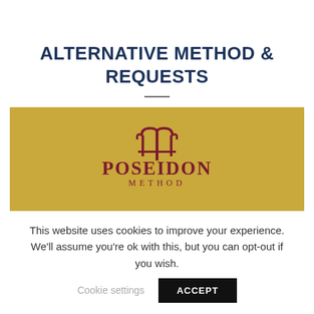ALTERNATIVE METHOD & REQUESTS
[Figure (logo): Poseidon Method logo on gold background — dark red trident symbol above the text 'POSEIDON METHOD' in dark red serif capitals]
This website uses cookies to improve your experience. We'll assume you're ok with this, but you can opt-out if you wish.
Cookie settings   ACCEPT